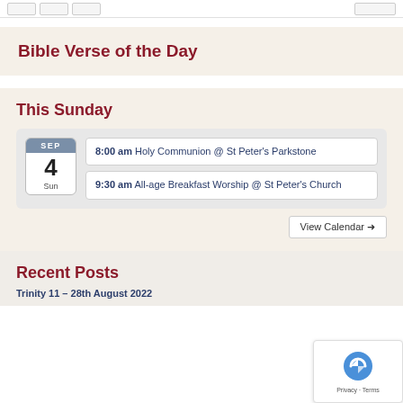Bible Verse of the Day
This Sunday
8:00 am Holy Communion @ St Peter's Parkstone
9:30 am All-age Breakfast Worship @ St Peter's Church
View Calendar →
Recent Posts
Trinity 11 – 28th August 2022